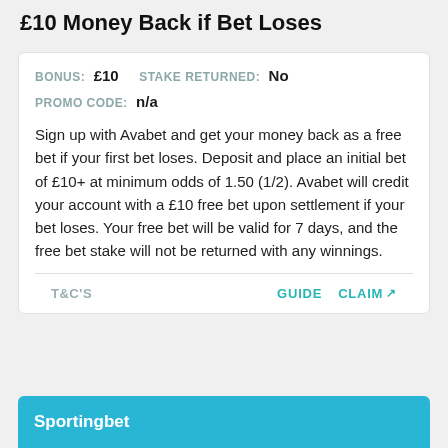£10 Money Back if Bet Loses
BONUS: £10   STAKE RETURNED: No
PROMO CODE: n/a
Sign up with Avabet and get your money back as a free bet if your first bet loses. Deposit and place an initial bet of £10+ at minimum odds of 1.50 (1/2). Avabet will credit your account with a £10 free bet upon settlement if your bet loses. Your free bet will be valid for 7 days, and the free bet stake will not be returned with any winnings.
T&C'S   GUIDE   CLAIM
Sportingbet